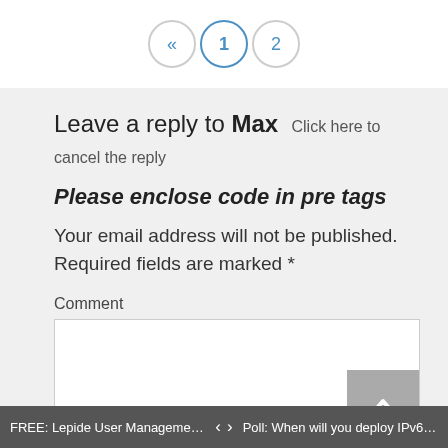[Figure (screenshot): Pagination bar with back arrow «, page 1 (active), page 2 buttons]
Leave a reply to Max  Click here to cancel the reply
Please enclose code in pre tags
Your email address will not be published. Required fields are marked *
Comment
FREE: Lepide User Management - ...   <   >   Poll: When will you deploy IPv6 in ...